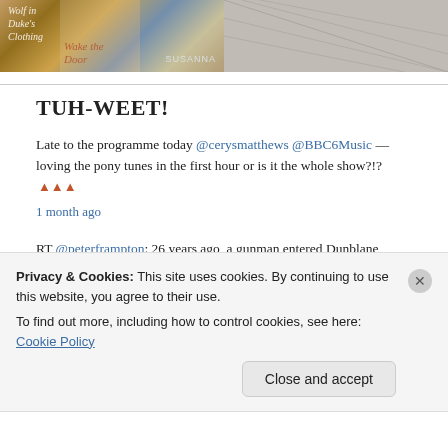[Figure (photo): Two photos side by side: left shows book covers including 'Wolf in Duke's Clothing' and 'Wake the Door' with author name Susanna visible; right shows a fence or chain-link pattern with muted colors.]
TUH-WEET!
Late to the programme today @cerysmatthews @BBC6Music — loving the pony tunes in the first hour or is it the whole show?!? 🔺🔺🔺 1 month ago
RT @peterframpton: 26 years ago, a gunman entered Dunblane Primary School in Scotland, killing 16 kids and a teacher. The UK govt responded… 3 months ago
Today (Mar 13) is #ReadAlong Read Day. Prose books ok but…
Privacy & Cookies: This site uses cookies. By continuing to use this website, you agree to their use.
To find out more, including how to control cookies, see here: Cookie Policy